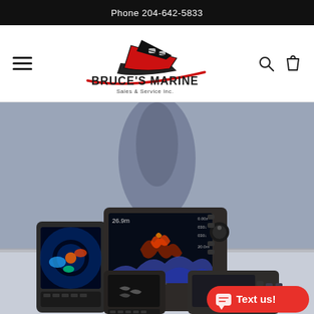Phone 204-642-5833
[Figure (logo): Bruce's Marine Sales & Service Inc. logo with stylized boat graphic in red and black]
[Figure (photo): Photo of multiple marine GPS/fishfinder/chart plotter electronics units displayed on a table, with screens showing sonar and navigation data. A red 'Text us!' chat button overlay is visible in the bottom right corner.]